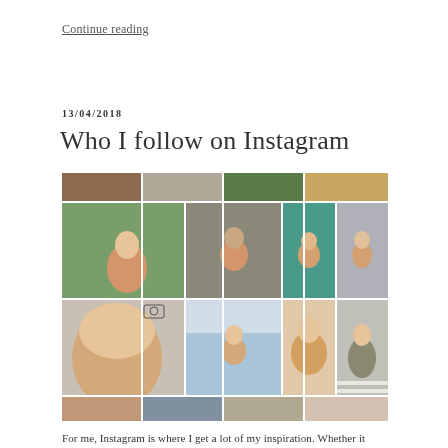Continue reading
13/04/2018
Who I follow on Instagram
[Figure (photo): A collage of Instagram-style fashion and lifestyle photos arranged in a grid, showing various women in stylish outfits in urban settings, selfies, and outdoor scenes.]
For me, Instagram is where I get a lot of my inspiration. Whether it